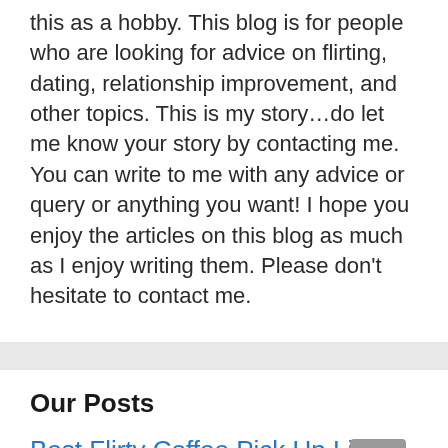this as a hobby. This blog is for people who are looking for advice on flirting, dating, relationship improvement, and other topics. This is my story…do let me know your story by contacting me. You can write to me with any advice or query or anything you want! I hope you enjoy the articles on this blog as much as I enjoy writing them. Please don't hesitate to contact me.
Our Posts
Best Flirty Coffee Pick Up Lines for Him or Her